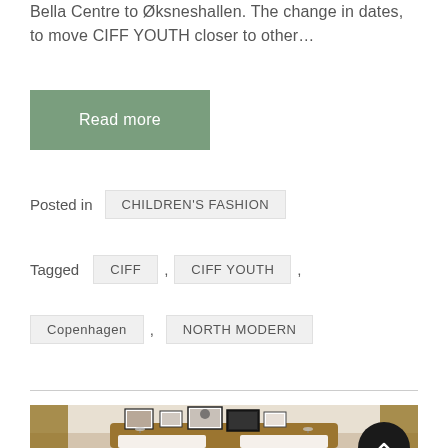Bella Centre to Øksneshallen. The change in dates, to move CIFF YOUTH closer to other…
Read more
Posted in   CHILDREN'S FASHION
Tagged   CIFF ,   CIFF YOUTH ,   Copenhagen ,   NORTH MODERN
[Figure (photo): Hotel bedroom with rattan headboard, white pillows, gallery wall of framed art prints above, warm neutral tones]